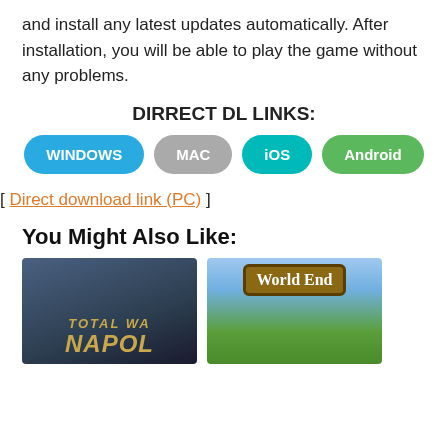and install any latest updates automatically. After installation, you will be able to play the game without any problems.
DIRRECT DL LINKS:
WINDOWS
MAC
iOS
Android
[ Direct download link (PC) ]
You Might Also Like:
[Figure (photo): Game cover image for Total War: Napoleon showing partial title text 'TOTAL WA' and 'NAPOL' in golden letters on a dark blue/grey background]
[Figure (photo): Game cover image for World End showing a wooden sign reading 'World End' against a sky and nature background with game characters]